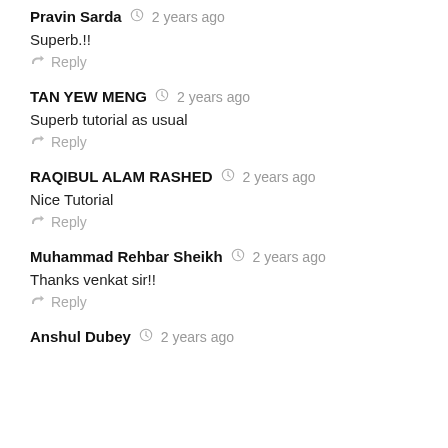Pravin Sarda  2 years ago
Superb.!!
Reply
TAN YEW MENG  2 years ago
Superb tutorial as usual
Reply
RAQIBUL ALAM RASHED  2 years ago
Nice Tutorial
Reply
Muhammad Rehbar Sheikh  2 years ago
Thanks venkat sir!!
Reply
Anshul Dubey  2 years ago